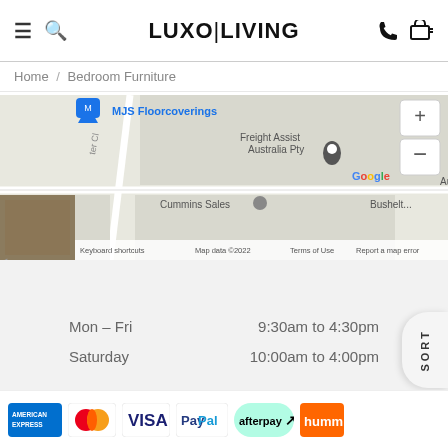LUXO|LIVING
Home / Bedroom Furniture
[Figure (map): Google Maps embed showing local area with markers for MJS Floorcoverings, Freight Assist Australia Pty, Australian Flooring, Cummins Sales, Bushelt. Zoom +/- controls visible top right.]
OPENING HOURS
Mon – Fri    9:30am to 4:30pm
Saturday    10:00am to 4:00pm
Closed on NSW Public Holidays
[Figure (logo): Payment method logos: American Express, Mastercard, Visa, PayPal, Afterpay, Humm]